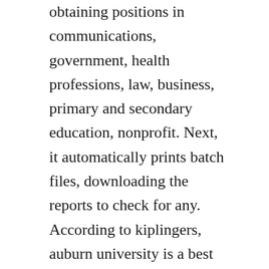obtaining positions in communications, government, health professions, law, business, primary and secondary education, nonprofit. Next, it automatically prints batch files, downloading the reports to check for any. According to kiplingers, auburn university is a best value public college. Students are admitted into the college of veterinary medicine program by applying to the auburn university college of veterinary medicine cvm and to the graduate program via application to the biomedical sciences graduate program through auburn university graduate school gs.